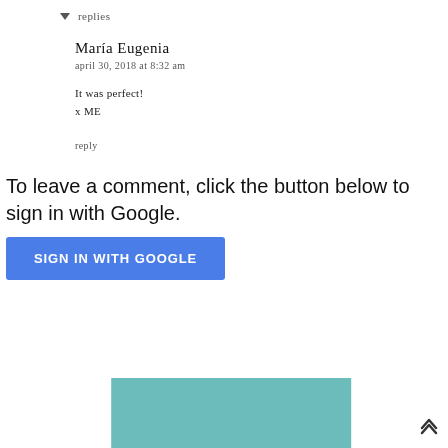▾ replies
María Eugenia
april 30, 2018 at 8:32 am
It was perfect!
x ME
reply
To leave a comment, click the button below to sign in with Google.
SIGN IN WITH GOOGLE
[Figure (photo): Teal/turquoise colored image at bottom of page]
back to top arrow